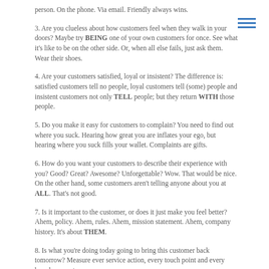person. On the phone. Via email. Friendly always wins.
3. Are you clueless about how customers feel when they walk in your doors? Maybe try BEING one of your own customers for once. See what it's like to be on the other side. Or, when all else fails, just ask them. Wear their shoes.
4. Are your customers satisfied, loyal or insistent? The difference is: satisfied customers tell no people, loyal customers tell (some) people and insistent customers not only TELL people; but they return WITH those people.
5. Do you make it easy for customers to complain? You need to find out where you suck. Hearing how great you are inflates your ego, but hearing where you suck fills your wallet. Complaints are gifts.
6. How do you want your customers to describe their experience with you? Good? Great? Awesome? Unforgettable? Wow. That would be nice. On the other hand, some customers aren't telling anyone about you at ALL. That's not good.
7. Is it important to the customer, or does it just make you feel better? Ahem, policy. Ahem, rules. Ahem, mission statement. Ahem, company history. It's about THEM.
8. Is what you're doing today going to bring this customer back tomorrow? Measure ever service action, every touch point and every brand moment